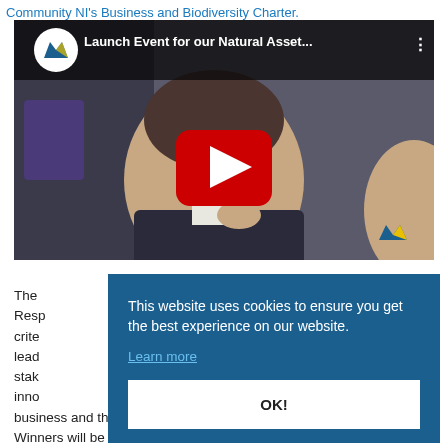Community NI's Business and Biodiversity Charter.
[Figure (screenshot): YouTube video thumbnail showing a man in a suit thinking, with Mannok logo and title 'Launch Event for our Natural Asset...' and a red YouTube play button in the center.]
The [obscured by cookie banner] Responsible [obscured] criteria [obscured] leadership [obscured] stakeholder [obscured] innovation [obscured] business and the community. Winners will be
This website uses cookies to ensure you get the best experience on our website. Learn more OK!